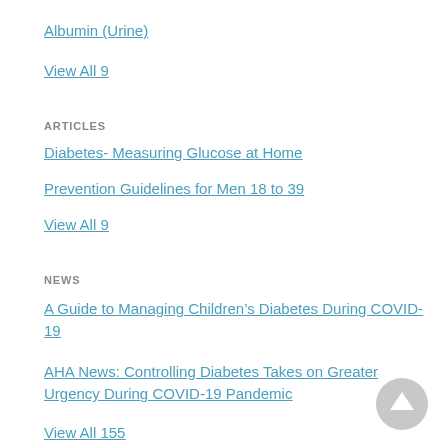Albumin (Urine)
View All 9
ARTICLES
Diabetes- Measuring Glucose at Home
Prevention Guidelines for Men 18 to 39
View All 9
NEWS
A Guide to Managing Children’s Diabetes During COVID-19
AHA News: Controlling Diabetes Takes on Greater Urgency During COVID-19 Pandemic
View All 155
HERBS, VITAMINS & SUPPLEMENTS